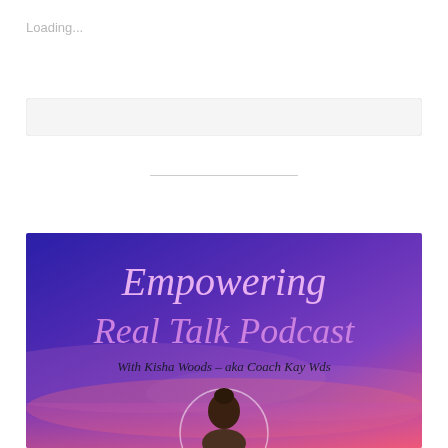Loading...
[Figure (screenshot): A light gray rounded rectangle search/loading bar placeholder]
[Figure (illustration): Podcast cover art for 'Empowering Real Talk Podcast with Kisha Woods - aka Coach Kay Wds'. Features script lettering in pink/purple on a gradient blue-purple-pink background with a circular portrait of a person at the bottom.]